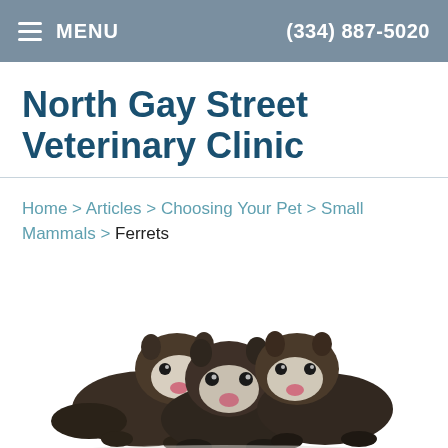MENU   (334) 887-5020
North Gay Street Veterinary Clinic
Home > Articles > Choosing Your Pet > Small Mammals > Ferrets
[Figure (photo): Three ferrets sitting together on a white background, facing the camera]